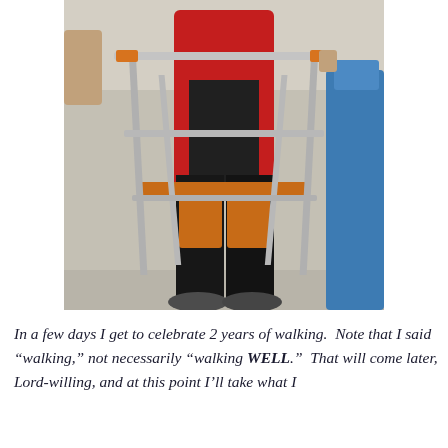[Figure (photo): A person using a metal walker in a hallway. The person wears a red jacket and black pants with orange knee supports/bandages. A helper dressed in blue is visible on the right side. The photo shows the torso and legs of the patient during a walking/rehabilitation session.]
In a few days I get to celebrate 2 years of walking.  Note that I said “walking,” not necessarily “walking WELL.”  That will come later, Lord-willing, and at this point I’ll take what I